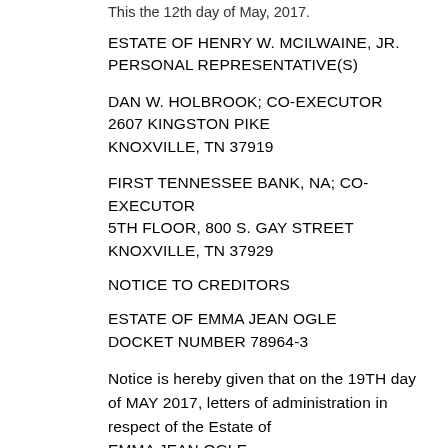This the 12th day of May, 2017.
ESTATE OF HENRY W. MCILWAINE, JR.
PERSONAL REPRESENTATIVE(S)
DAN W. HOLBROOK; CO-EXECUTOR
2607 KINGSTON PIKE
KNOXVILLE, TN 37919
FIRST TENNESSEE BANK, NA; CO-EXECUTOR
5TH FLOOR, 800 S. GAY STREET
KNOXVILLE, TN 37929
NOTICE TO CREDITORS
ESTATE OF EMMA JEAN OGLE
DOCKET NUMBER 78964-3
Notice is hereby given that on the 19TH day of MAY 2017, letters of administration in respect of the Estate of
EMMA JEAN OGLE